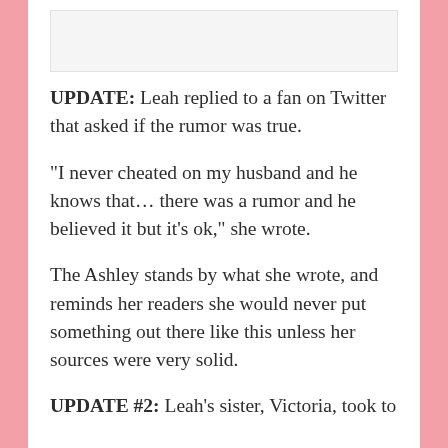[Figure (photo): Image placeholder at top of article content]
UPDATE: Leah replied to a fan on Twitter that asked if the rumor was true.
“I never cheated on my husband and he knows that… there was a rumor and he believed it but it’s ok,” she wrote.
The Ashley stands by what she wrote, and reminds her readers she would never put something out there like this unless her sources were very solid.
UPDATE #2: Leah’s sister, Victoria, took to